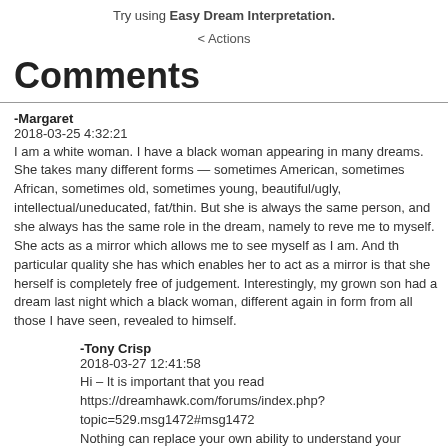Try using Easy Dream Interpretation.
< Actions
Comments
-Margaret
2018-03-25 4:32:21
I am a white woman. I have a black woman appearing in many dreams. She takes many different forms — sometimes American, sometimes African, sometimes old, sometimes young, beautiful/ugly, intellectual/uneducated, fat/thin. But she is always the same person, and she always has the same role in the dream, namely to reveal me to myself. She acts as a mirror which allows me to see myself as I am. And the particular quality she has which enables her to act as a mirror is that she herself is completely free of judgement. Interestingly, my grown son had a dream last night which a black woman, different again in form from all those I have seen, revealed to himself.
-Tony Crisp
2018-03-27 12:41:58
Hi – It is important that you read https://dreamhawk.com/forums/index.php?topic=529.msg1472#msg1472
Nothing can replace your own ability to understand your dream. With a little can do this by practicing what is described in – http://dreamhawk.com/dream-encyclopedia/acting-on-your-dream/#BeingPerson or http://dreamhawk.com/dream-dictionary/getting-at-your-dreams-meaning/
Tony
Margaret – An interesting and informative dream.
People tend to believe their life began at birth or at conception. That is quite a concept, for the seed or cell that you developed from wasn't a new thing, for every creature grows from a dead seed, and each living seed carries within